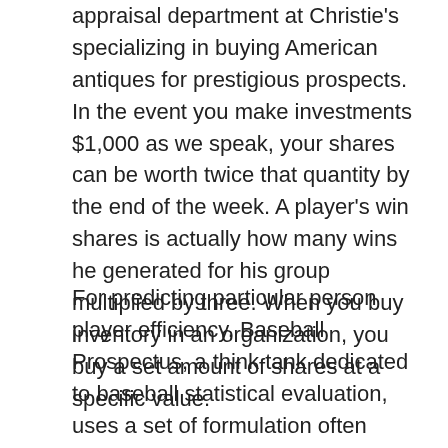appraisal department at Christie's specializing in buying American antiques for prestigious prospects. In the event you make investments $1,000 as we speak, your shares can be worth twice that quantity by the end of the week. A player's win shares is actually how many wins he generated for his group multiplied by three. When you buy inventory in an organization, you buy a set amount of shares at a specific value.
For predicting particular person player efficiency, Baseball Prospectus, a think tank dedicated to baseball statistical evaluation, uses a set of formulation often known as PECOTA to foretell future performance. This number is determined by how other batters perform and whether or not they get on base so that a player can drive them in. However is there anything a authorities can do to control a stock